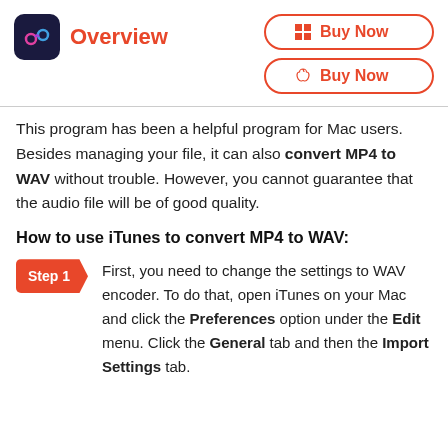Overview | Buy Now (Windows) | Buy Now (Mac)
This program has been a helpful program for Mac users. Besides managing your file, it can also convert MP4 to WAV without trouble. However, you cannot guarantee that the audio file will be of good quality.
How to use iTunes to convert MP4 to WAV:
Step 1: First, you need to change the settings to WAV encoder. To do that, open iTunes on your Mac and click the Preferences option under the Edit menu. Click the General tab and then the Import Settings tab.